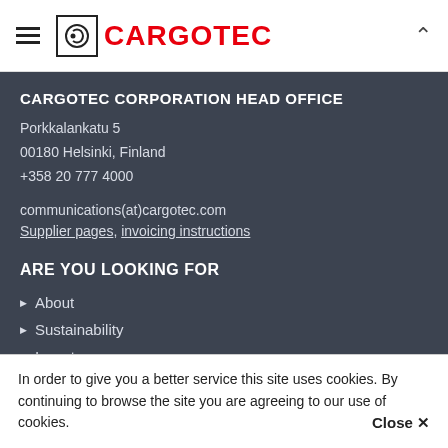CARGOTEC (logo/navigation header)
CARGOTEC CORPORATION HEAD OFFICE
Porkkalankatu 5
00180 Helsinki, Finland
+358 20 777 4000
communications(at)cargotec.com
Supplier pages, invoicing instructions
ARE YOU LOOKING FOR
About
Sustainability
Investors
News
In order to give you a better service this site uses cookies. By continuing to browse the site you are agreeing to our use of cookies.